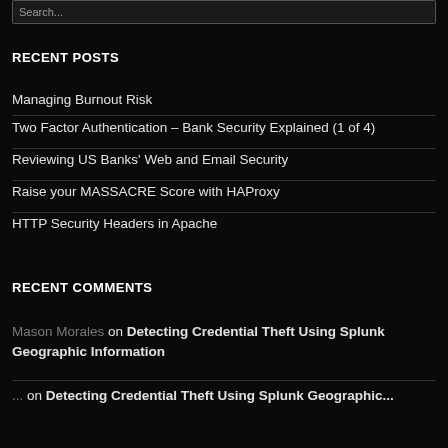Search...
RECENT POSTS
Managing Burnout Risk
Two Factor Authentication – Bank Security Explained (1 of 4)
Reviewing US Banks' Web and Email Security
Raise your MASSACRE Score with HAProxy
HTTP Security Headers in Apache
RECENT COMMENTS
Mason Morales on Detecting Credential Theft Using Splunk Geographic Information
...on Detecting Credential Theft Using Splunk Geographic...